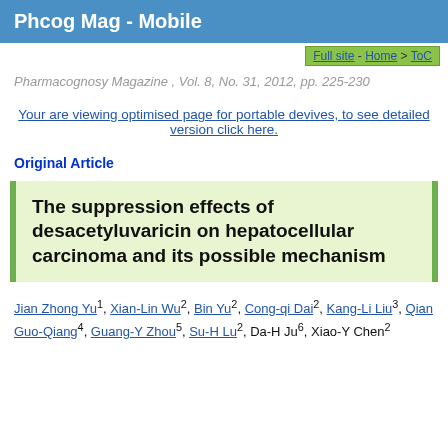Phcog Mag - Mobile
Full site - Home > ToC
Pharmacognosy Magazine , Vol. 8, No. 31, 2012, pp. 225-230
Your are viewing optimised page for portable devives, to see detailed version click here.
Original Article
The suppression effects of desacetyluvaricin on hepatocellular carcinoma and its possible mechanism
Jian Zhong Yu1, Xian-Lin Wu2, Bin Yu2, Cong-qi Dai2, Kang-Li Liu3, Qian Guo-Qiang4, Guang-Y Zhou5, Su-H Lu2, Da-H Ju6, Xiao-Y Chen2